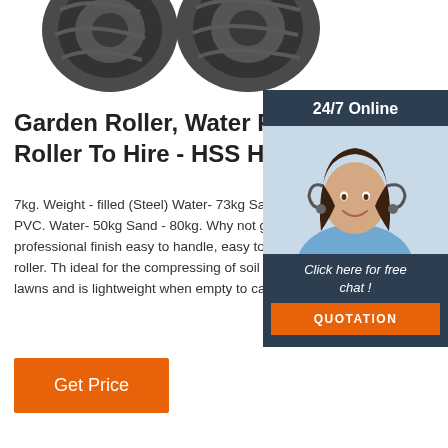[Figure (photo): Partial view of garden roller wheels (tires) at the top of the page, cropped]
Garden Roller, Water Filled La Roller To Hire - HSS Hire
7kg. Weight - filled (Steel) Water- 73kg Sand - Weight - filled PVC. Water- 50kg Sand - 80kg. Why not give your lawn that professional finish easy to handle, easy to clean garden roller. Th ideal for the compressing of soil work and smo lawns and is lightweight when empty to carry i
[Figure (photo): 24/7 online chat widget with photo of a smiling woman with headset, 'Click here for free chat!' text, and QUOTATION button]
Get Price